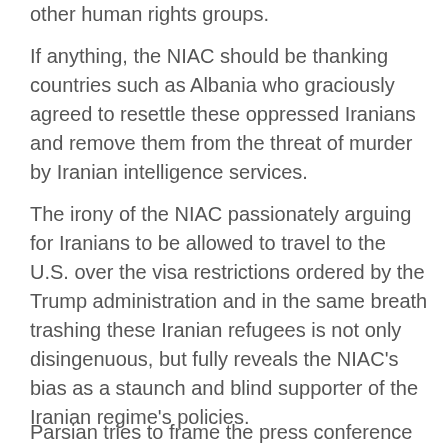other human rights groups.
If anything, the NIAC should be thanking countries such as Albania who graciously agreed to resettle these oppressed Iranians and remove them from the threat of murder by Iranian intelligence services.
The irony of the NIAC passionately arguing for Iranians to be allowed to travel to the U.S. over the visa restrictions ordered by the Trump administration and in the same breath trashing these Iranian refugees is not only disingenuous, but fully reveals the NIAC's bias as a staunch and blind supporter of the Iranian regime's policies.
Parsian tries to frame the press conference